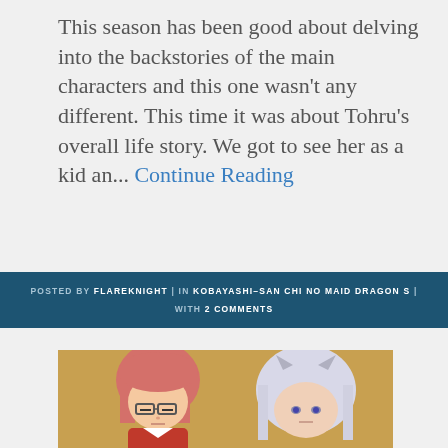This season has been good about delving into the backstories of the main characters and this one wasn't any different. This time it was about Tohru's overall life story. We got to see her as a kid an... Continue Reading
POSTED BY FLAREKNIGHT | IN KOBAYASHI-SAN CHI NO MAID DRAGON S | WITH 2 COMMENTS
[Figure (illustration): Anime screenshot showing two characters: one with pink/red hair and glasses on the left, and one with white/silver hair on the right, against a yellow/golden background]